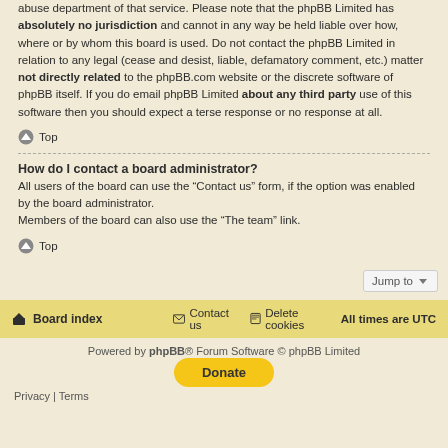abuse department of that service. Please note that the phpBB Limited has absolutely no jurisdiction and cannot in any way be held liable over how, where or by whom this board is used. Do not contact the phpBB Limited in relation to any legal (cease and desist, liable, defamatory comment, etc.) matter not directly related to the phpBB.com website or the discrete software of phpBB itself. If you do email phpBB Limited about any third party use of this software then you should expect a terse response or no response at all.
Top
How do I contact a board administrator?
All users of the board can use the "Contact us" form, if the option was enabled by the board administrator.
Members of the board can also use the "The team" link.
Top
Jump to
Board index   Contact us   Delete cookies   All times are UTC
Powered by phpBB® Forum Software © phpBB Limited
Donate
Privacy | Terms